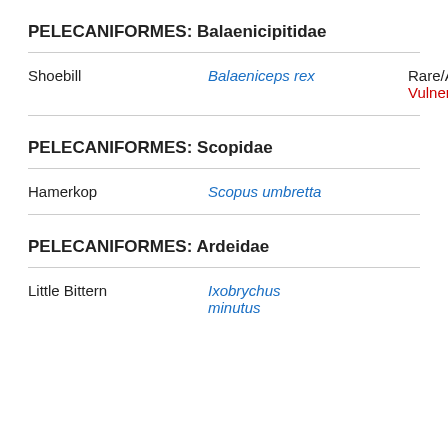PELECANIFORMES: Balaenicipitidae
| Common Name | Scientific Name | Status |
| --- | --- | --- |
| Shoebill | Balaeniceps rex | Rare/Accidental
Vulnerable |
PELECANIFORMES: Scopidae
| Common Name | Scientific Name | Status |
| --- | --- | --- |
| Hamerkop | Scopus umbretta |  |
PELECANIFORMES: Ardeidae
| Common Name | Scientific Name | Status |
| --- | --- | --- |
| Little Bittern | Ixobrychus minutus |  |